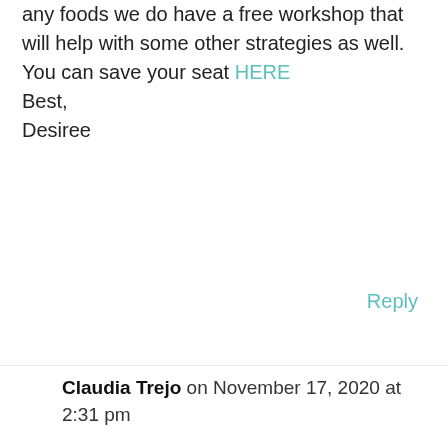any foods we do have a free workshop that will help with some other strategies as well. You can save your seat HERE
Best,
Desiree
Reply
Claudia Trejo on November 17, 2020 at 2:31 pm
My 4 1/2 year old has so much trouble eating. her stress is so much that I'm seriously so lost as how to help. if she smells something she doesn't like she throws up. when she eats she literally nibbles at her food like a mouse. She cries when its almost lunch time because she hates that time to eat